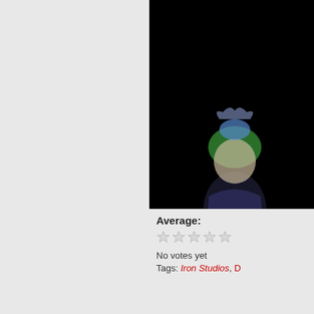[Figure (photo): Product photo of a colorful action figure/statue (appears to be Joker or similar character with green hair and blue/purple outfit) against a black background. The image is partially cropped showing only the right portion of the page.]
Average:
[Figure (other): Five empty star rating icons (no votes yet)]
No votes yet
Tags: Iron Studios, D